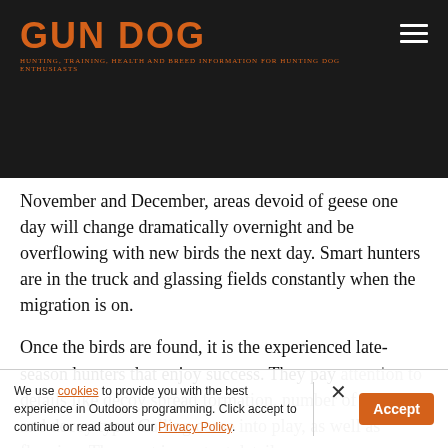GUN DOG
November and December, areas devoid of geese one day will change dramatically overnight and be overflowing with new birds the next day. Smart hunters are in the truck and glassing fields constantly when the migration is on.
Once the birds are found, it is the experienced late-season hunters that enjoy success. They pay attention to details like decoy spread formation, number of decoys, and decoy type. Calling come into play, as well as flagging. The most important detail is
We use cookies to provide you with the best experience in Outdoors programming. Click accept to continue or read about our Privacy Policy.